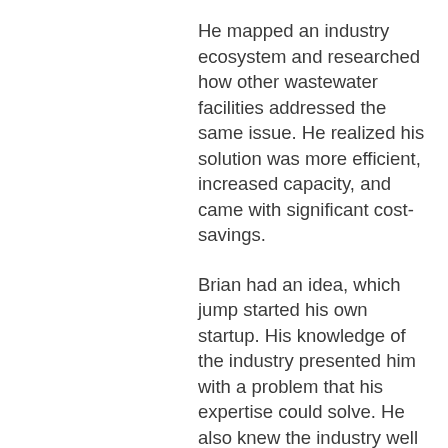He mapped an industry ecosystem and researched how other wastewater facilities addressed the same issue. He realized his solution was more efficient, increased capacity, and came with significant cost-savings.
Brian had an idea, which jump started his own startup. His knowledge of the industry presented him with a problem that his expertise could solve. He also knew the industry well enough to realize that his solution was innovative and cost-efficient.
As an industry SME, Brian only saw his potential market as wastewater treatment facilities similar to his own. But Brian's friend, Estela, saw beyond the wastewater industry – she was a